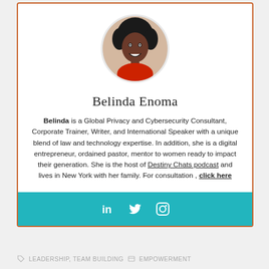[Figure (photo): Circular portrait photo of Belinda Enoma, a woman with curly dark hair, smiling, wearing a red top]
Belinda Enoma
Belinda is a Global Privacy and Cybersecurity Consultant, Corporate Trainer, Writer, and International Speaker with a unique blend of law and technology expertise. In addition, she is a digital entrepreneur, ordained pastor, mentor to women ready to impact their generation. She is the host of Destiny Chats podcast and lives in New York with her family. For consultation , click here
[Figure (infographic): Teal/turquoise social media bar with LinkedIn, Twitter, and Instagram icons in white]
LEADERSHIP, TEAM BUILDING  EMPOWERMENT